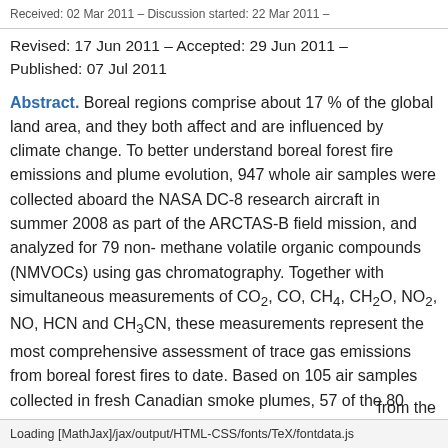Received: 02 Mar 2011 – Discussion started: 22 Mar 2011 –
Revised: 17 Jun 2011 – Accepted: 29 Jun 2011 – Published: 07 Jul 2011
Abstract. Boreal regions comprise about 17 % of the global land area, and they both affect and are influenced by climate change. To better understand boreal forest fire emissions and plume evolution, 947 whole air samples were collected aboard the NASA DC-8 research aircraft in summer 2008 as part of the ARCTAS-B field mission, and analyzed for 79 non-methane volatile organic compounds (NMVOCs) using gas chromatography. Together with simultaneous measurements of CO2, CO, CH4, CH2O, NO2, NO, HCN and CH3CN, these measurements represent the most comprehensive assessment of trace gas emissions from boreal forest fires to date. Based on 105 air samples collected in fresh Canadian smoke plumes, 57 of the 80 … from the
Loading [MathJax]/jax/output/HTML-CSS/fonts/TeX/fontdata.js